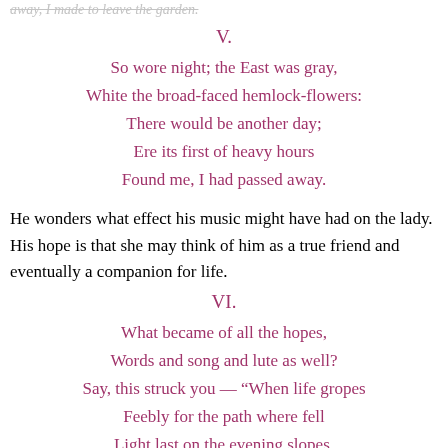away, I made to leave the garden.
V.
So wore night; the East was gray,
White the broad-faced hemlock-flowers:
There would be another day;
Ere its first of heavy hours
Found me, I had passed away.
He wonders what effect his music might have had on the lady. His hope is that she may think of him as a true friend and eventually a companion for life.
VI.
What became of all the hopes,
Words and song and lute as well?
Say, this struck you — “When life gropes
Feebly for the path where fell
Light last on the evening slopes,
Scroll to Top